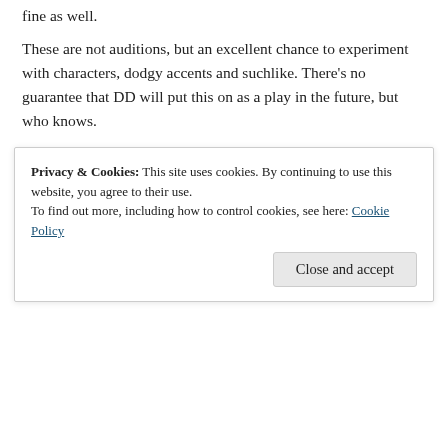fine as well.
These are not auditions, but an excellent chance to experiment with characters, dodgy accents and suchlike. There's no guarantee that DD will put this on as a play in the future, but who knows.
2nd March 2022 – 7:30pm at the Queen Victoria (Dagmar Rd, Dorchester DT1 2LW)
Share this:
Facebook, Twitter, WhatsApp, Reddit, Email, Print
Privacy & Cookies: This site uses cookies. By continuing to use this website, you agree to their use. To find out more, including how to control cookies, see here: Cookie Policy